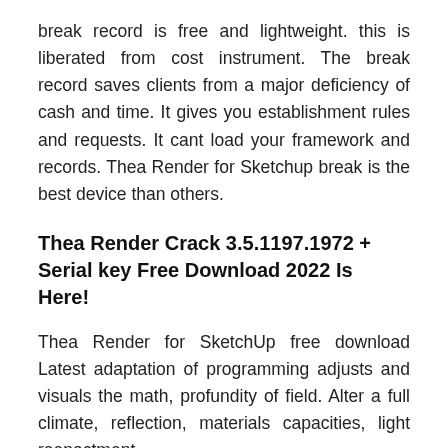break record is free and lightweight. this is liberated from cost instrument. The break record saves clients from a major deficiency of cash and time. It gives you establishment rules and requests. It cant load your framework and records. Thea Render for Sketchup break is the best device than others.
Thea Render Crack 3.5.1197.1972 + Serial key Free Download 2022 Is Here!
Thea Render for SketchUp free download Latest adaptation of programming adjusts and visuals the math, profundity of field. Alter a full climate, reflection, materials capacities, light reenactment